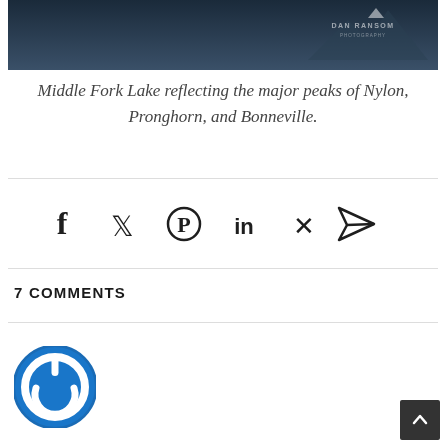[Figure (photo): Landscape photograph of Middle Fork Lake reflecting mountain peaks, dark blue tones, with DAN RANSOM watermark in upper right corner]
Middle Fork Lake reflecting the major peaks of Nylon, Pronghorn, and Bonneville.
[Figure (infographic): Social share icons row: Facebook, Twitter, Pinterest, LinkedIn, Xing, Email/send]
7 COMMENTS
[Figure (logo): Blue circular power button icon / user avatar placeholder]